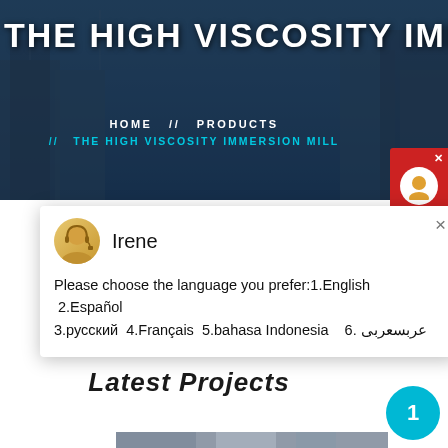THE HIGH VISCOSITY IMMERSION MILL
HOME // PRODUCTS // THE HIGH VISCOSITY IMMERSION MILL
[Figure (screenshot): Chat popup with avatar of agent named Irene and language selection message]
Please choose the language you prefer:1.English  2.Español  3.русский  4.Français  5.bahasa Indonesia   6. عربسعربی
Latest Projects
[Figure (photo): Industrial machinery / construction site photo]